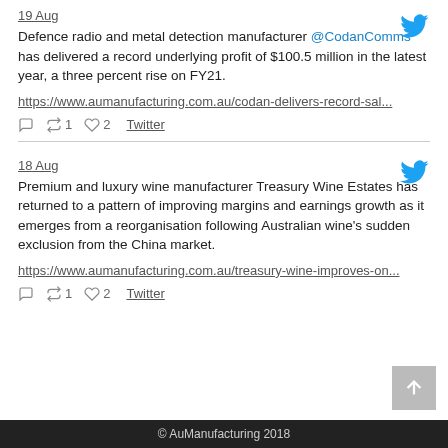19 Aug
Defence radio and metal detection manufacturer @CodanComms has delivered a record underlying profit of $100.5 million in the latest year, a three percent rise on FY21.
https://www.aumanufacturing.com.au/codan-delivers-record-sal...
Reply 0 Retweet 1 Like 2 Twitter
18 Aug
Premium and luxury wine manufacturer Treasury Wine Estates has returned to a pattern of improving margins and earnings growth as it emerges from a reorganisation following Australian wine's sudden exclusion from the China market.
https://www.aumanufacturing.com.au/treasury-wine-improves-on...
Reply 0 Retweet 1 Like 2 Twitter
© AuManufacturing 2018